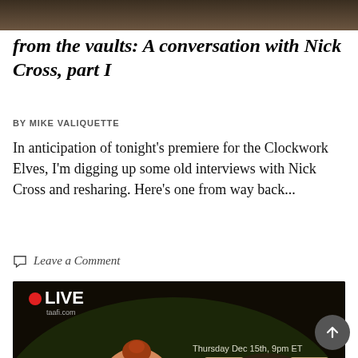[Figure (photo): Top cropped photo strip, dark brownish background visible at top of page]
from the vaults: A conversation with Nick Cross, part I
BY MIKE VALIQUETTE
In anticipation of tonight's premiere for the Clockwork Elves, I'm digging up some old interviews with Nick Cross and resharing. Here's one from way back...
Leave a Comment
[Figure (screenshot): Live stream promotional image showing a cartoon character (Clockwork Elves character, orange with bow tie) on left, photo of Nick Cross (man with glasses) on right, text reads: LIVE taafi.com, Thursday Dec 15th, 9pm ET, Nick Cross unveils The Clockwork Elves!, presented by taafi and Cartoon North logos at bottom]